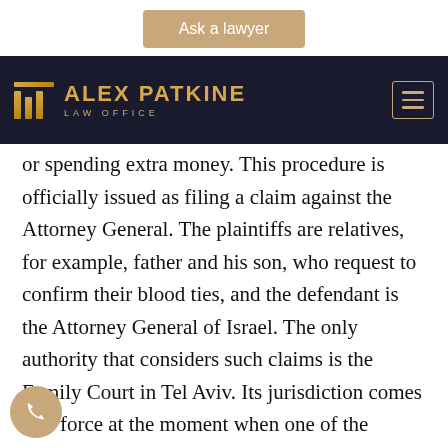[Figure (logo): Ask a lawyer button - tan/gold colored button at top of page]
[Figure (logo): Alex Patkine Law Office logo with gold columns icon on dark navy background, hamburger menu icon on right]
or spending extra money. This procedure is officially issued as filing a claim against the Attorney General. The plaintiffs are relatives, for example, father and his son, who request to confirm their blood ties, and the defendant is the Attorney General of Israel. The only authority that considers such claims is the Family Court in Tel Aviv. Its jurisdiction comes into force at the moment when one of the plaintiffs is not an Israeli